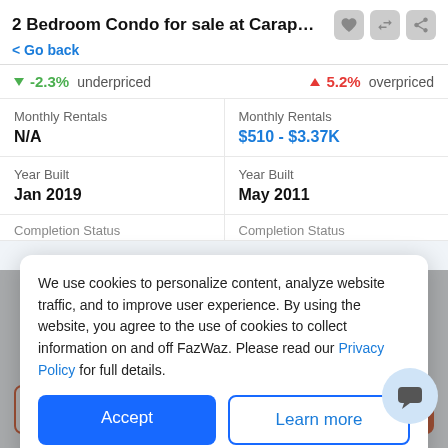2 Bedroom Condo for sale at Carapace H...
< Go back
▼ -2.3% underpriced   ▲ 5.2% overpriced
|  |  |
| --- | --- |
| Monthly Rentals | Monthly Rentals |
| N/A | $510 - $3.37K |
| Year Built | Year Built |
| Jan 2019 | May 2011 |
| Completion Status | Completion Status |
We use cookies to personalize content, analyze website traffic, and to improve user experience. By using the website, you agree to the use of cookies to collect information on and off FazWaz. Please read our Privacy Policy for full details.
Accept
Learn more
Request Details
Schedule Viewing